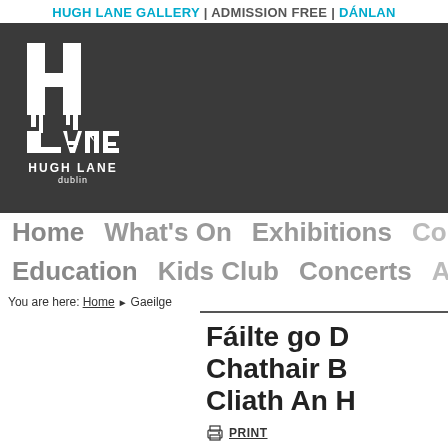HUGH LANE GALLERY | ADMISSION FREE | DÁNLAN...
[Figure (logo): Hugh Lane Dublin gallery logo — white H and LANE letters on dark gray background with text HUGH LANE and dublin below]
Home   What's On   Exhibitions   Colle...   Education   Kids Club   Concerts   Abo...
You are here: Home ▶ Gaeilge
Fáilte go D... Chathair B... Cliath An H...
PRINT
Tá bailiúchán ina bhfuil s...